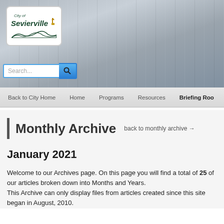[Figure (logo): City of Sevierville logo with text and hills illustration, white box with rounded corners on wood-grain grey banner background]
Search...
Back to City Home | Home | Programs | Resources | Briefing Roo
Monthly Archive  back to monthly archive →
January 2021
Welcome to our Archives page. On this page you will find a total of 25 of our articles broken down into Months and Years.
This Archive can only display files from articles created since this site began in August, 2010.